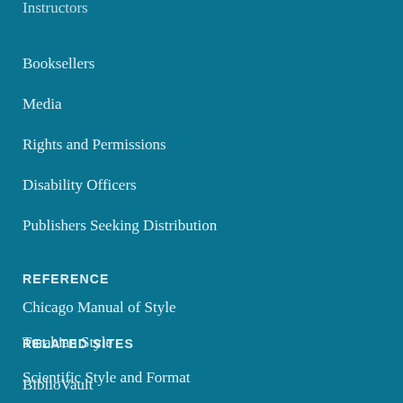Instructors
Booksellers
Media
Rights and Permissions
Disability Officers
Publishers Seeking Distribution
REFERENCE
Chicago Manual of Style
Turabian Style
Scientific Style and Format
RELATED SITES
BiblioVault